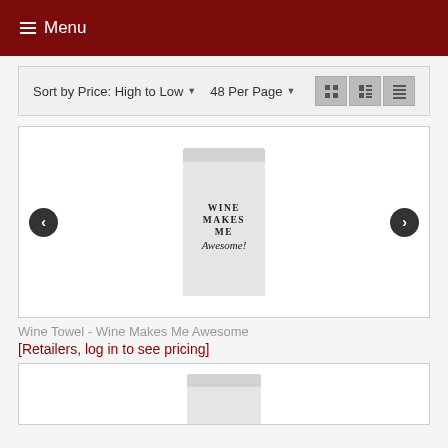Menu
Sort by Price: High to Low ▾  48 Per Page ▾
[Figure (photo): Product image of a white wine towel with text 'Wine Makes Me Awesome!' printed on it, shown in a product carousel with left and right navigation arrows.]
Wine Towel - Wine Makes Me Awesome
[Retailers, log in to see pricing]
[Figure (photo): Partial view of a second product card showing the top of another white wine towel.]